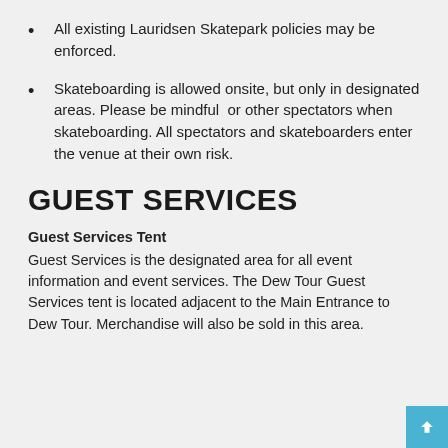All existing Lauridsen Skatepark policies may be enforced.
Skateboarding is allowed onsite, but only in designated areas. Please be mindful or other spectators when skateboarding. All spectators and skateboarders enter the venue at their own risk.
GUEST SERVICES
Guest Services Tent
Guest Services is the designated area for all event information and event services. The Dew Tour Guest Services tent is located adjacent to the Main Entrance to Dew Tour. Merchandise will also be sold in this area.